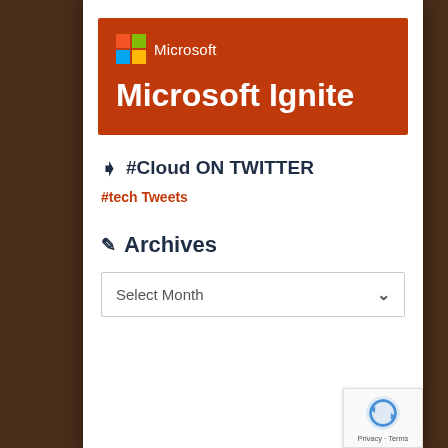[Figure (logo): Microsoft Ignite banner with orange-red background, Microsoft logo (colorful 4-square grid) and text 'Microsoft' on top row, and large white bold 'Microsoft Ignite' text below]
> #Cloud ON TWITTER
#tech Tweets
✎ Archives
Select Month
[Figure (other): Google reCAPTCHA badge with circular arrow logo and 'Privacy · Terms' text]